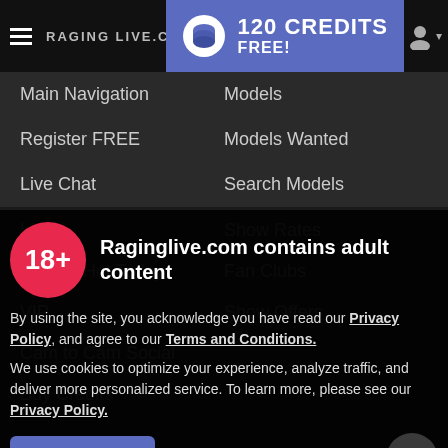RAGING LIVE.COM — 120 CREDITS FREE!
Main Navigation
Models
Register FREE
Models Wanted
Live Chat
Search Models
Raginglive.com contains adult content
By using the site, you acknowledge you have read our Privacy Policy, and agree to our Terms and Conditions.
We use cookies to optimize your experience, analyze traffic, and deliver more personalized service. To learn more, please see our Privacy Policy.
I AGREE